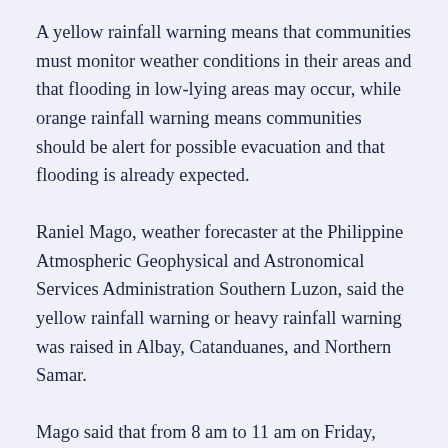A yellow rainfall warning means that communities must monitor weather conditions in their areas and that flooding in low-lying areas may occur, while orange rainfall warning means communities should be alert for possible evacuation and that flooding is already expected.
Raniel Mago, weather forecaster at the Philippine Atmospheric Geophysical and Astronomical Services Administration Southern Luzon, said the yellow rainfall warning or heavy rainfall warning was raised in Albay, Catanduanes, and Northern Samar.
Mago said that from 8 am to 11 am on Friday, Pagasa-Legazpi recorded an accumulated rainfall amount of 80.6 millimeters in this city...